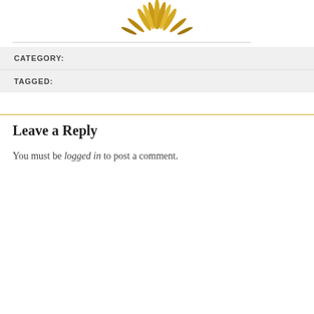[Figure (illustration): Partial gold sunburst or floral decorative illustration cropped at top of page]
CATEGORY:
TAGGED:
Leave a Reply
You must be logged in to post a comment.